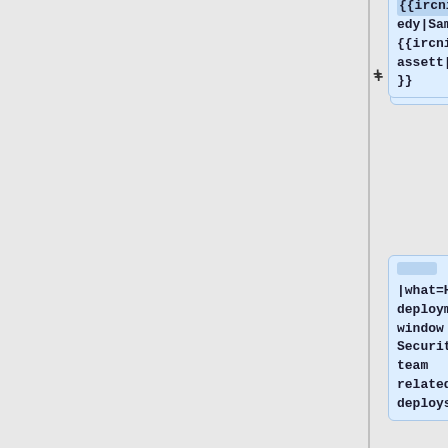{{ircnick|Keedy|Sam}}, {{ircnick|sbassett|Scott}}
|what=Held deployment window for Security-team related deploys.
}}|
{{#invoke:Deployment schedule|row
|when=2020-